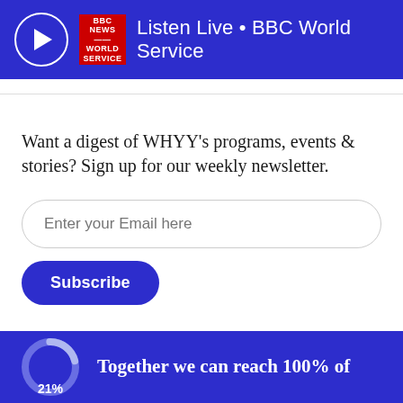Listen Live • BBC World Service
Want a digest of WHYY's programs, events & stories? Sign up for our weekly newsletter.
[Figure (infographic): Email input field with placeholder 'Enter your Email here' and a Subscribe button below]
Together we can reach 100% of
[Figure (donut-chart): Partial donut chart showing 21% progress on blue background]